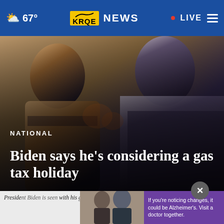67° KRQE NEWS • LIVE
[Figure (photo): Blurred outdoor photo of two people, a woman with sunglasses on the left and a man in a dark polo shirt on the right, with text overlay showing NATIONAL category and headline]
NATIONAL
Biden says he's considering a gas tax holiday
Preside[nt Biden is pictured] with his gran[dchildren], right, M[ajor Biden, Beau Biden, right, M[...]]
[Figure (photo): Advertisement thumbnail showing two men and purple overlay with Alzheimer's text: If you're noticing changes, it could be Alzheimer's. Visit a doctor together.]